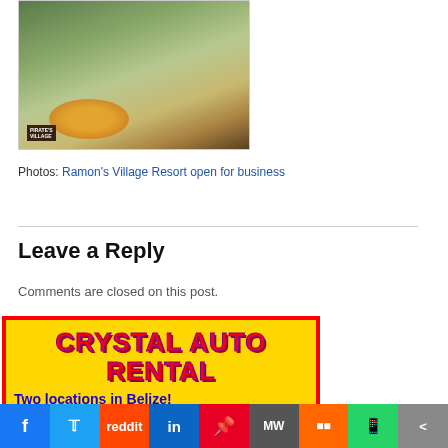[Figure (photo): Outdoor tropical resort scene with thatched structures, palm trees, and beach chairs with a sunset arc decoration. A dark wooden sign is visible at lower left.]
Photos: Ramon's Village Resort open for business
Leave a Reply
Comments are closed on this post.
[Figure (illustration): Crystal Auto Rental advertisement. Yellow background with red border. Large red text 'CRYSTAL AUTO RENTAL'. Blue text: 'Two locations in Belize! www.crystal-belize.com Email: reservations@crystal-belize.com'. Bottom section with blue background, yellow italic text '#1 in Belize - Find out why!' and red italic text 'Established in 1989'.]
[Figure (other): Social sharing bar with icons for Facebook, Twitter, Reddit, LinkedIn, Pinterest, MW, Mi, WhatsApp, and Share.]